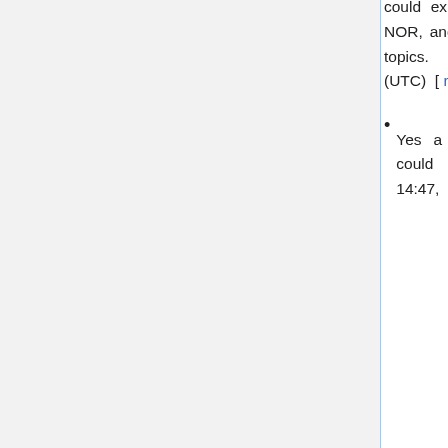could explore the topics of verifiability, sourcing, NOR, and due weight as they apply to medical topics. --RexxS (talk) 21:19, 16 April 2019 (UTC) [ reply ]
Yes a panel regarding sourcing requirements could be interesting. Doc James (talk) 14:47, 18 April 2019 (UTC) [ reply ]